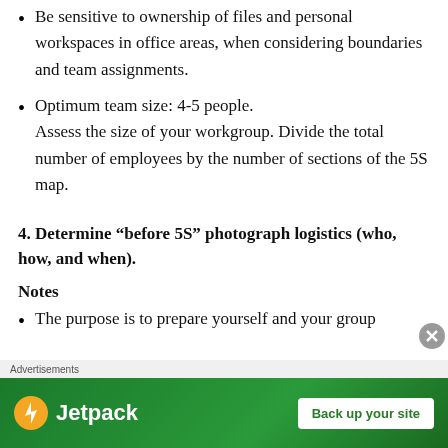Be sensitive to ownership of files and personal workspaces in office areas, when considering boundaries and team assignments.
Optimum team size: 4-5 people. Assess the size of your workgroup. Divide the total number of employees by the number of sections of the 5S map.
4. Determine “before 5S” photograph logistics (who, how, and when).
Notes
The purpose is to prepare yourself and your group
[Figure (other): Jetpack advertisement banner with green background, Jetpack logo on left and 'Back up your site' button on right, with close (X) button]